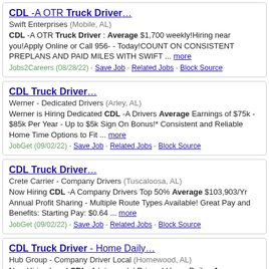CDL -A OTR Truck Driver… | Swift Enterprises (Mobile, AL) | CDL -A OTR Truck Driver : Average $1,700 weekly!Hiring near you!Apply Online or Call 956- - Today!COUNT ON CONSISTENT PREPLANS AND PAID MILES WITH SWIFT ... more | Jobs2Careers (08/28/22) - Save Job - Related Jobs - Block Source
CDL Truck Driver… | Werner - Dedicated Drivers (Arley, AL) | Werner is Hiring Dedicated CDL -A Drivers Average Earnings of $75k - $85k Per Year - Up to $5k Sign On Bonus!* Consistent and Reliable Home Time Options to Fit ... more | JobGet (09/02/22) - Save Job - Related Jobs - Block Source
CDL Truck Driver… | Crete Carrier - Company Drivers (Tuscaloosa, AL) | Now Hiring CDL -A Company Drivers Top 50% Average $103,903/Yr Annual Profit Sharing - Multiple Route Types Available! Great Pay and Benefits: Starting Pay: $0.64 ... more | JobGet (09/02/22) - Save Job - Related Jobs - Block Source
CDL Truck Driver - Home Daily… | Hub Group - Company Driver Local (Homewood, AL) | Now Hiring Local CDL -A Intermodal Drivers! Home Daily - Average ...the